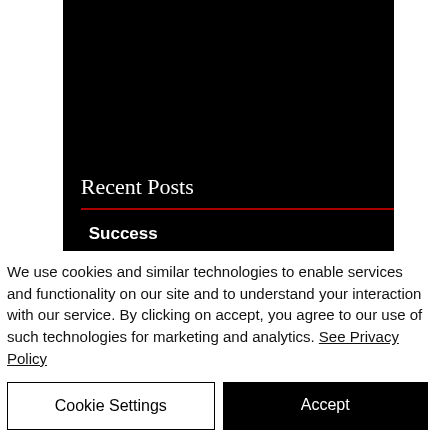[Figure (screenshot): Black panel showing 'Recent Posts' heading with a dark red horizontal rule and 'Success' link text below, on a black background]
Recent Posts
Success
We use cookies and similar technologies to enable services and functionality on our site and to understand your interaction with our service. By clicking on accept, you agree to our use of such technologies for marketing and analytics. See Privacy Policy
Cookie Settings
Accept